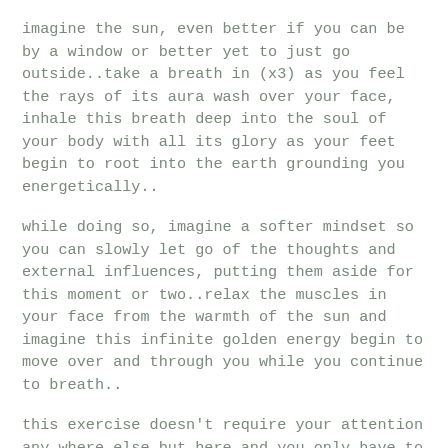imagine the sun, even better if you can be by a window or better yet to just go outside..take a breath in (x3) as you feel the rays of its aura wash over your face, inhale this breath deep into the soul of your body with all its glory as your feet begin to root into the earth grounding you energetically..
while doing so, imagine a softer mindset so you can slowly let go of the thoughts and external influences, putting them aside for this moment or two..relax the muscles in your face from the warmth of the sun and imagine this infinite golden energy begin to move over and through you while you continue to breath..
this exercise doesn't require your attention any where else but here and you only have to allow for it to naturally happen..inhale slowly surrendering and exhale your stressor or any blockers, repeating at your own pace until